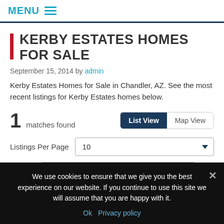MENU
KERBY ESTATES HOMES FOR SALE
September 15, 2014 by admin
Kerby Estates Homes for Sale in Chandler, AZ. See the most recent listings for Kerby Estates homes below.
1 matches found
Listings Per Page 10
Sort By Recently Updated
We use cookies to ensure that we give you the best experience on our website. If you continue to use this site we will assume that you are happy with it.
Ok  Privacy policy